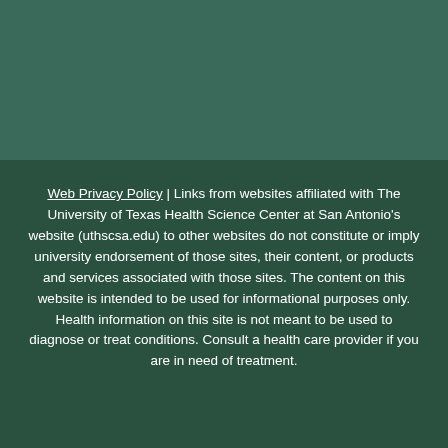Web Privacy Policy | Links from websites affiliated with The University of Texas Health Science Center at San Antonio's website (uthscsa.edu) to other websites do not constitute or imply university endorsement of those sites, their content, or products and services associated with those sites. The content on this website is intended to be used for informational purposes only. Health information on this site is not meant to be used to diagnose or treat conditions. Consult a health care provider if you are in need of treatment.